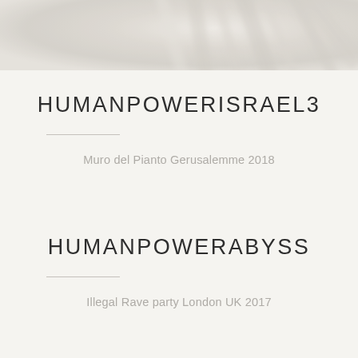[Figure (photo): Blurred abstract photograph in light cream and grey tones, likely a spinning vinyl record or similar circular motion, used as a decorative header strip]
HUMANPOWERISRAEL3
Muro del Pianto Gerusalemme 2018
HUMANPOWERABYSS
Illegal Rave party London UK 2017